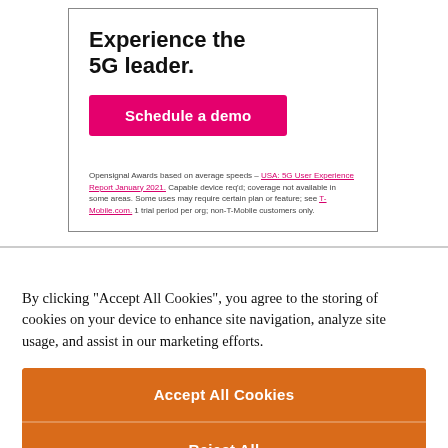Experience the 5G leader.
[Figure (other): Pink/magenta button labeled 'Schedule a demo']
Opensignal Awards based on average speeds – USA: 5G User Experience Report January 2021. Capable device req'd; coverage not available in some areas. Some uses may require certain plan or feature; see T-Mobile.com. 1 trial period per org; non-T-Mobile customers only.
By clicking "Accept All Cookies", you agree to the storing of cookies on your device to enhance site navigation, analyze site usage, and assist in our marketing efforts.
[Figure (other): Orange 'Accept All Cookies' button and 'Reject All' button stacked, with 'Cookies Settings' button below with white background]